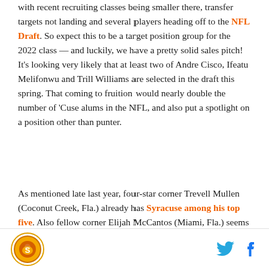with recent recruiting classes being smaller there, transfer targets not landing and several players heading off to the NFL Draft. So expect this to be a target position group for the 2022 class — and luckily, we have a pretty solid sales pitch! It's looking very likely that at least two of Andre Cisco, Ifeatu Melifonwu and Trill Williams are selected in the draft this spring. That coming to fruition would nearly double the number of 'Cuse alums in the NFL, and also put a spotlight on a position other than punter.
As mentioned late last year, four-star corner Trevell Mullen (Coconut Creek, Fla.) already has Syracuse among his top five. Also fellow corner Elijah McCantos (Miami, Fla.) seems to like the Orange as well
[Figure (logo): Syracuse Orange circular logo in orange/brown tones]
[Figure (other): Twitter bird icon in blue and Facebook 'f' icon in blue social sharing icons]